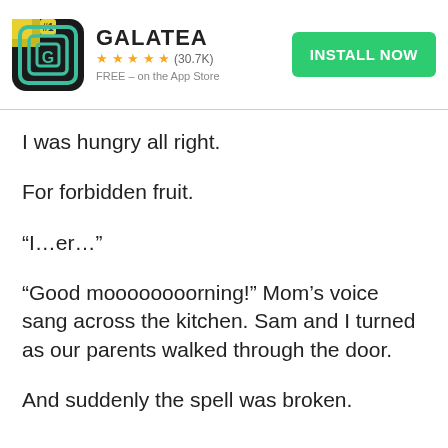[Figure (screenshot): Galatea app advertisement banner with app icon, name GALATEA, star rating 4.8 stars (30.7K), FREE on the App Store, and a green INSTALL NOW button]
I was hungry all right.
For forbidden fruit.
“I…er…”
“Good moooooooorning!” Mom’s voice sang across the kitchen. Sam and I turned as our parents walked through the door.
And suddenly the spell was broken.